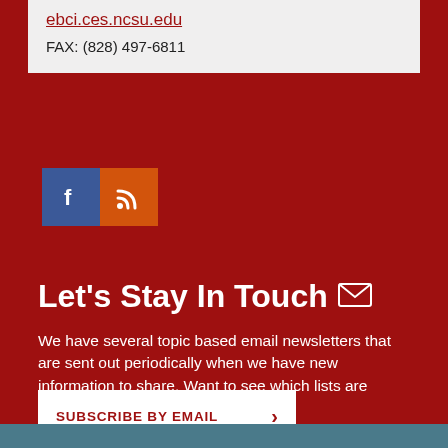ebci.ces.ncsu.edu
FAX: (828) 497-6811
[Figure (illustration): Facebook social media icon (blue square with white F) and RSS feed icon (orange square with white RSS signal symbol)]
Let's Stay In Touch
We have several topic based email newsletters that are sent out periodically when we have new information to share. Want to see which lists are available?
SUBSCRIBE BY EMAIL >